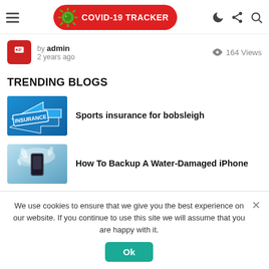COVID-19 TRACKER
by admin
2 years ago
164 Views
TRENDING BLOGS
[Figure (photo): Blue arrows with INSURANCE text label]
Sports insurance for bobsleigh
[Figure (photo): Water-damaged phone being splashed by water]
How To Backup A Water-Damaged iPhone
We use cookies to ensure that we give you the best experience on our website. If you continue to use this site we will assume that you are happy with it.